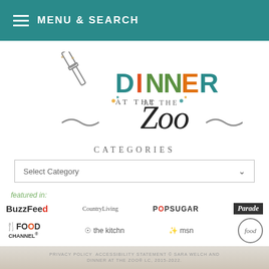MENU & SEARCH
[Figure (logo): Dinner at the Zoo logo with spatula icon and decorative swirls. 'DINNER' in colorful letters (teal D, red I, green N, green N, red/orange E, teal R), 'AT THE' in small caps, 'Zoo' in large serif font.]
CATEGORIES
Select Category
featured in:
[Figure (logo): Row of publication logos: BuzzFeed, CountryLiving, POPSUGAR, Parade, The Food Channel, the kitchn, msn, Food Network]
PRIVACY POLICY ACCESSIBILITY STATEMENT © SARA WELCH AND DINNER AT THE ZOO® LC, 2015-2022.